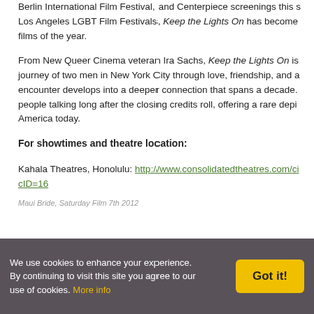Berlin International Film Festival, and Centerpiece screenings this s Los Angeles LGBT Film Festivals, Keep the Lights On has become films of the year.
From New Queer Cinema veteran Ira Sachs, Keep the Lights On is journey of two men in New York City through love, friendship, and a encounter develops into a deeper connection that spans a decade. people talking long after the closing credits roll, offering a rare depi America today.
For showtimes and theatre location:
Kahala Theatres, Honolulu: http://www.consolidatedtheatres.com/ci cID=16
Maui Bride, Saturday Film 7th 2012
We use cookies to enhance your experience. By continuing to visit this site you agree to our use of cookies. More info